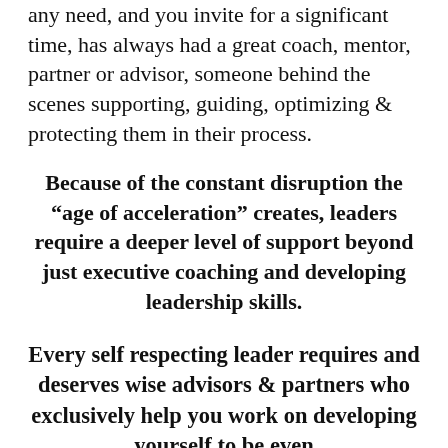any need, and you invite for a significant time, has always had a great coach, mentor, partner or advisor, someone behind the scenes supporting, guiding, optimizing & protecting them in their process.
Because of the constant disruption the “age of acceleration” creates, leaders require a deeper level of support beyond just executive coaching and developing leadership skills.
Every self respecting leader requires and deserves wise advisors & partners who exclusively help you work on developing yourself to be even